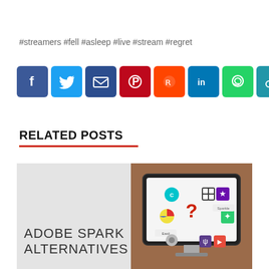#streamers #fell #asleep #live #stream #regret
[Figure (infographic): Row of social media share buttons: Facebook (blue), Twitter (light blue), Email (dark blue), Pinterest (red), Reddit (orange-red), LinkedIn (teal), WhatsApp (green), Copy link (teal), More/Add (blue)]
RELATED POSTS
[Figure (photo): Related post card showing 'ADOBE SPARK ALTERNATIVES' text on light grey background on left, and a computer monitor displaying various app icons around a red question mark on right side with brick wall background]